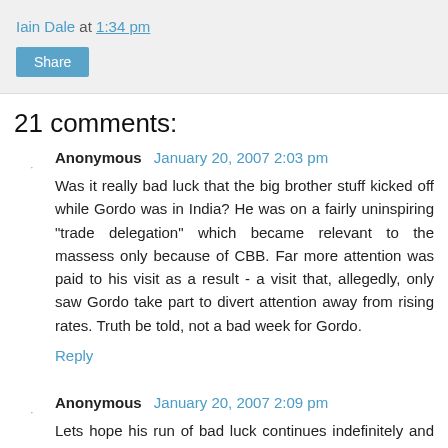Iain Dale at 1:34 pm
Share
21 comments:
Anonymous  January 20, 2007 2:03 pm
Was it really bad luck that the big brother stuff kicked off while Gordo was in India? He was on a fairly uninspiring "trade delegation" which became relevant to the massess only because of CBB. Far more attention was paid to his visit as a result - a visit that, allegedly, only saw Gordo take part to divert attention away from rising rates. Truth be told, not a bad week for Gordo.
Reply
Anonymous  January 20, 2007 2:09 pm
Lets hope his run of bad luck continues indefinitely and he